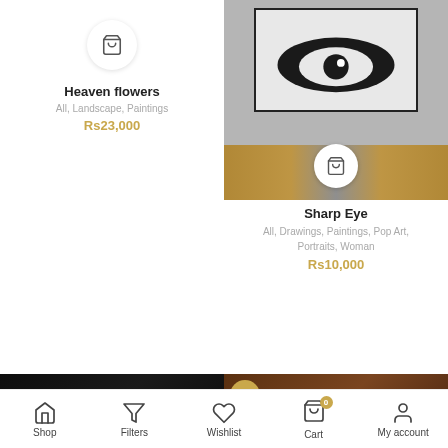[Figure (screenshot): Mobile e-commerce app showing art products for sale. Top row: Heaven flowers (left, placeholder with cart icon) and Sharp Eye (right, photo of room with black eye artwork). Bottom row: Two calligraphy artworks. Bottom navigation bar with Shop, Filters, Wishlist, Cart (badge 0), My account.]
Heaven flowers
All, Landscape, Paintings
Rs23,000
Sharp Eye
All, Drawings, Paintings, Pop Art, Portraits, Woman
Rs10,000
-5%
Shop  Filters  Wishlist  Cart  My account